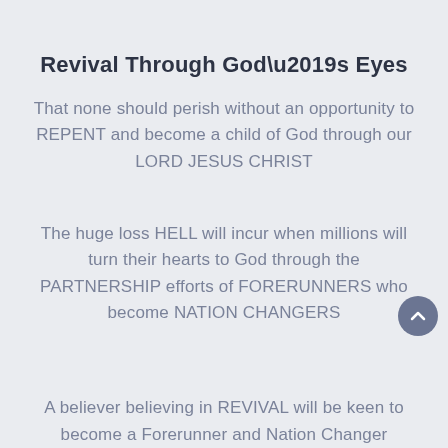Revival Through God’s Eyes
That none should perish without an opportunity to REPENT and become a child of God through our LORD JESUS CHRIST
The huge loss HELL will incur when millions will turn their hearts to God through the PARTNERSHIP efforts of FORERUNNERS who become NATION CHANGERS
A believer believing in REVIVAL will be keen to become a Forerunner and Nation Changer